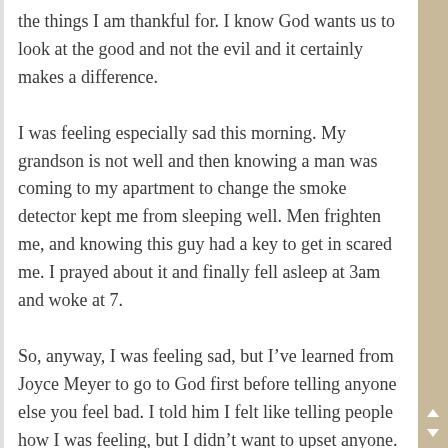the things I am thankful for. I know God wants us to look at the good and not the evil and it certainly makes a difference.
I was feeling especially sad this morning. My grandson is not well and then knowing a man was coming to my apartment to change the smoke detector kept me from sleeping well. Men frighten me, and knowing this guy had a key to get in scared me. I prayed about it and finally fell asleep at 3am and woke at 7.
So, anyway, I was feeling sad, but I've learned from Joyce Meyer to go to God first before telling anyone else you feel bad. I told him I felt like telling people how I was feeling, but I didn't want to upset anyone. I asked God that if he wanted me to keep it to myself, I would talk with him about all my feelings and then see if I needed to confide in a family member. When we were